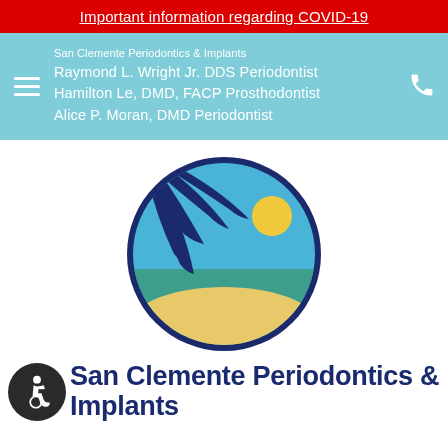Important information regarding COVID-19
San Clemente Periodontics & Implants
Raymond L. Wright Jr. DDS Periodontist
Hamilton Le, DMD, FACP Prosthodontist
Alice P. Moran, DMD Periodontist
[Figure (logo): Circular logo showing a beach scene with dark navy palm leaves, blue sky, golden sun, teal ocean water, and sandy beach, surrounded by a dark navy circular border]
San Clemente Periodontics & Implants